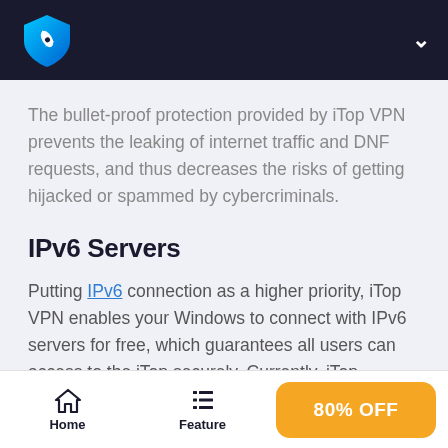iTop VPN logo and navigation header
The bullet-proof protection provided by iTop VPN prevents the leaking of internet traffic and DNF requests, and thus decreases the risks of getting hijacked or spammed by cybercriminals.
IPv6 Servers
Putting IPv6 connection as a higher priority, iTop VPN enables your Windows to connect with IPv6 servers for free, which guarantees all users can access to the iTop securely. Currently, iTop American,
Home | Feature | 80% OFF